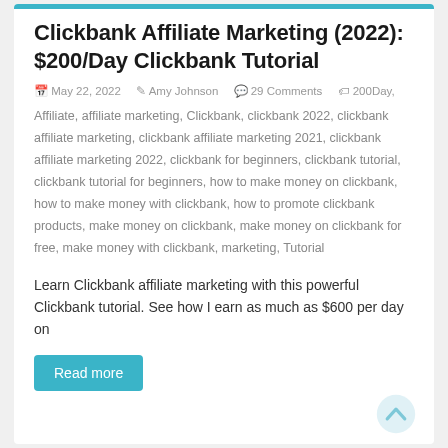Clickbank Affiliate Marketing (2022): $200/Day Clickbank Tutorial
May 22, 2022  Amy Johnson  29 Comments  200Day, Affiliate, affiliate marketing, Clickbank, clickbank 2022, clickbank affiliate marketing, clickbank affiliate marketing 2021, clickbank affiliate marketing 2022, clickbank for beginners, clickbank tutorial, clickbank tutorial for beginners, how to make money on clickbank, how to make money with clickbank, how to promote clickbank products, make money on clickbank, make money on clickbank for free, make money with clickbank, marketing, Tutorial
Learn Clickbank affiliate marketing with this powerful Clickbank tutorial. See how I earn as much as $600 per day on